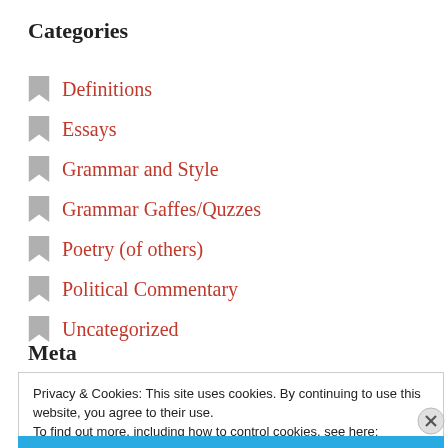Categories
Definitions
Essays
Grammar and Style
Grammar Gaffes/Quzzes
Poetry (of others)
Political Commentary
Uncategorized
Meta
Privacy & Cookies: This site uses cookies. By continuing to use this website, you agree to their use.
To find out more, including how to control cookies, see here:
Cookie Policy
Close and accept